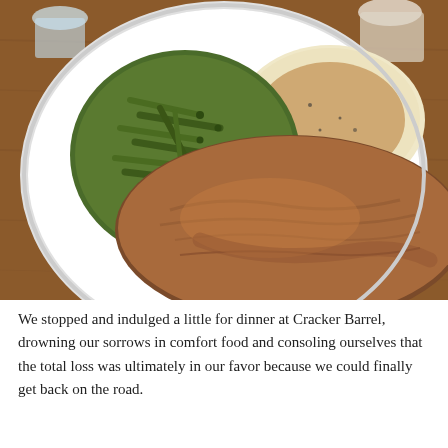[Figure (photo): A white plate of comfort food at Cracker Barrel: braised/smothered meat with brown gravy, green beans, and mashed potatoes with gravy, served on a wooden table with glasses in the background.]
We stopped and indulged a little for dinner at Cracker Barrel, drowning our sorrows in comfort food and consoling ourselves that the total loss was ultimately in our favor because we could finally get back on the road.